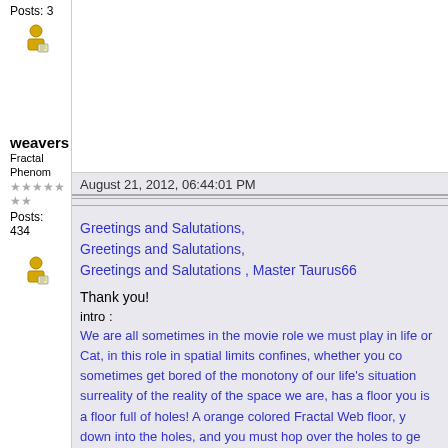Posts: 3
[Figure (illustration): User avatar icon (person with document)]
weavers
Fractal Phenom
★★★★★ ★★
Posts: 434
[Figure (illustration): User avatar icon (person with document)]
August 21, 2012, 06:44:01 PM
Greetings and Salutations,
Greetings and Salutations,
Greetings and Salutations , Master Taurus66
Thank you!
intro :
We are all sometimes in the movie role we must play in life or Cat, in this role in spatial limits confines, whether you co sometimes get bored of the monotony of our life's situation surreality of the reality of the space we are, has a floor you is a floor full of holes! A orange colored Fractal Web floor, y down into the holes, and you must hop over the holes to ge greener on the other side of the fence, once there, upon th kiss of a warm Red Cherry!
Diagnosis Critéria : Compositionality : balanced : Light con the distance seeking.... your minds camera caught it and